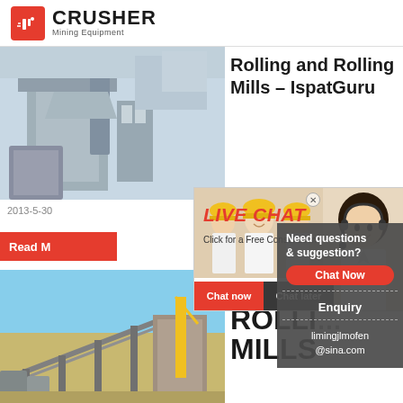CRUSHER Mining Equipment
[Figure (photo): Industrial mining equipment / mill with large pipes and metal structures]
Rolling and Rolling Mills – IspatGuru
24Hrs Online
2013-5-30
Read M...
[Figure (screenshot): Live Chat popup overlay with workers photo and customer service representative. Text: LIVE CHAT, Click for a Free Consultation, Chat now, Chat later]
Need questions & suggestion? Chat Now Enquiry limingjlmofen@sina.com
[Figure (photo): Industrial plant/crusher equipment under blue sky]
PROC... ROLLI... MILLS...